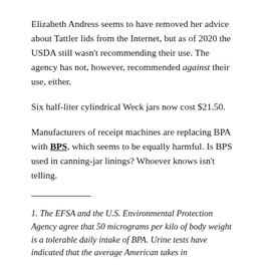Elizabeth Andress seems to have removed her advice about Tattler lids from the Internet, but as of 2020 the USDA still wasn't recommending their use. The agency has not, however, recommended against their use, either.
Six half-liter cylindrical Weck jars now cost $21.50.
Manufacturers of receipt machines are replacing BPA with BPS, which seems to be equally harmful. Is BPS used in canning-jar linings? Whoever knows isn't telling.
1. The EFSA and the U.S. Environmental Protection Agency agree that 50 micrograms per kilo of body weight is a tolerable daily intake of BPA. Urine tests have indicated that the average American takes in